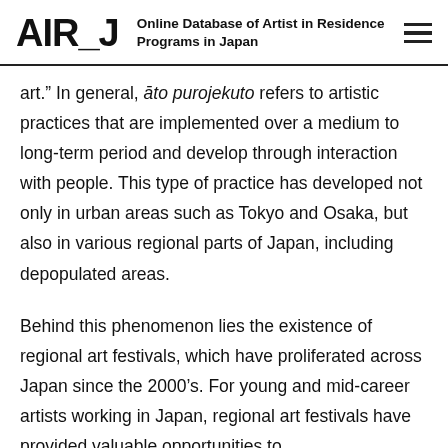AIR_J Online Database of Artist in Residence Programs in Japan
art.” In general, āto purojekuto refers to artistic practices that are implemented over a medium to long-term period and develop through interaction with people. This type of practice has developed not only in urban areas such as Tokyo and Osaka, but also in various regional parts of Japan, including depopulated areas.
Behind this phenomenon lies the existence of regional art festivals, which have proliferated across Japan since the 2000’s. For young and mid-career artists working in Japan, regional art festivals have provided valuable opportunities to…